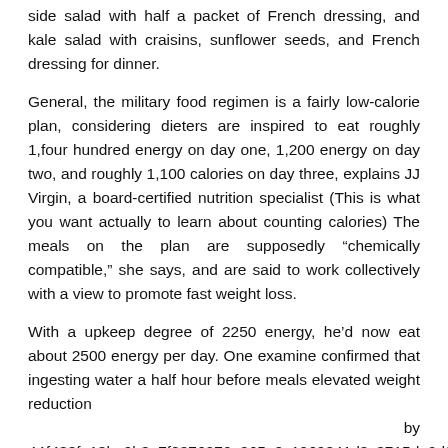side salad with half a packet of French dressing, and kale salad with craisins, sunflower seeds, and French dressing for dinner.
General, the military food regimen is a fairly low-calorie plan, considering dieters are inspired to eat roughly 1,four hundred energy on day one, 1,200 energy on day two, and roughly 1,100 calories on day three, explains JJ Virgin, a board-certified nutrition specialist (This is what you want actually to learn about counting calories) The meals on the plan are supposedly “chemically compatible,” she says, and are said to work collectively with a view to promote fast weight loss.
With a upkeep degree of 2250 energy, he’d now eat about 2500 energy per day. One examine confirmed that ingesting water a half hour before meals elevated weight reduction by 44{438fa13be9b3e7f0376276a065a0c1969841d3c3715da9d9faa2 over 3 months ( 20 ). Sugar is hidden in plenty of foods. In addition to a more healthy food plan, common bodily activity